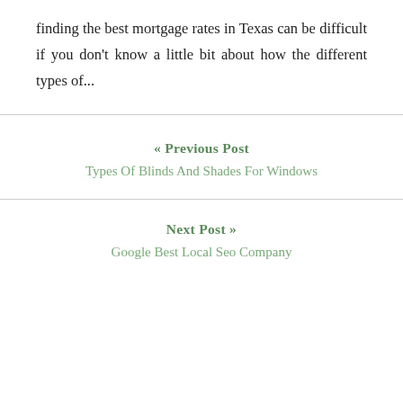finding the best mortgage rates in Texas can be difficult if you don't know a little bit about how the different types of...
« Previous Post
Types Of Blinds And Shades For Windows
Next Post »
Google Best Local Seo Company